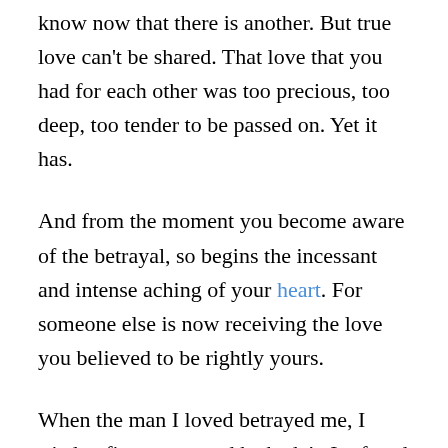know now that there is another. But true love can't be shared. That love that you had for each other was too precious, too deep, too tender to be passed on. Yet it has.
And from the moment you become aware of the betrayal, so begins the incessant and intense aching of your heart. For someone else is now receiving the love you believed to be rightly yours.
When the man I loved betrayed me, I tried at first to pretend he hadn't. I refused to consider that the relationship was anything more than a brotherly friendship. This of course, was exactly the way he justified his actions. He was simply offering support and consolation to someone who had been through a difficult time. So who was I to be challenging such kind words and offers of help?